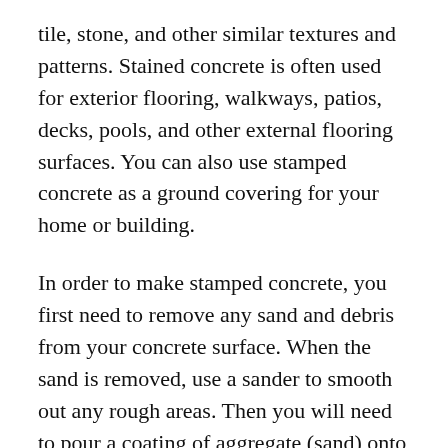tile, stone, and other similar textures and patterns. Stained concrete is often used for exterior flooring, walkways, patios, decks, pools, and other external flooring surfaces. You can also use stamped concrete as a ground covering for your home or building.
In order to make stamped concrete, you first need to remove any sand and debris from your concrete surface. When the sand is removed, use a sander to smooth out any rough areas. Then you will need to pour a coating of aggregate (sand) onto the surface of your concrete in layers. Make sure that the aggregate has been prepared before pouring on the concrete. Stencil design on the concrete by